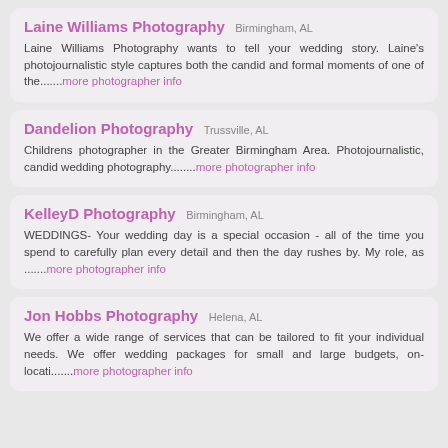Laine Williams Photography Birmingham, AL
Laine Williams Photography wants to tell your wedding story. Laine's photojournalistic style captures both the candid and formal moments of one of the.......more photographer info
Dandelion Photography Trussville, AL
Childrens photographer in the Greater Birmingham Area. Photojournalistic, candid wedding photography........more photographer info
KelleyD Photography Birmingham, AL
WEDDINGS- Your wedding day is a special occasion - all of the time you spend to carefully plan every detail and then the day rushes by. My role, as .......more photographer info
Jon Hobbs Photography Helena, AL
We offer a wide range of services that can be tailored to fit your individual needs. We offer wedding packages for small and large budgets, on-locati.......more photographer info